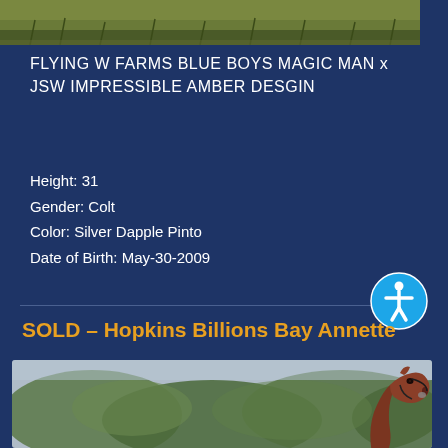[Figure (photo): Top partial photo showing green grass/field background]
FLYING W FARMS BLUE BOYS MAGIC MAN x JSW IMPRESSIBLE AMBER DESGIN
Height: 31
Gender: Colt
Color: Silver Dapple Pinto
Date of Birth: May-30-2009
SOLD – Hopkins Billions Bay Annette
[Figure (photo): Photo of a bay miniature horse with head raised, green blurred foliage background]